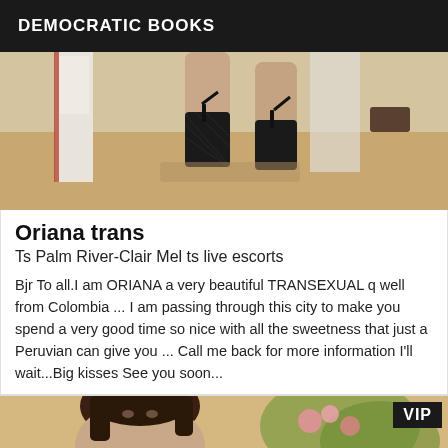DEMOCRATIC BOOKS
[Figure (photo): Close-up photo of legs wearing black fishnet stockings with garter straps, standing on a wooden floor near a white door/mirror]
Oriana trans
Ts Palm River-Clair Mel ts live escorts
Bjr To all.I am ORIANA a very beautiful TRANSEXUAL q well from Colombia ... I am passing through this city to make you spend a very good time so nice with all the sweetness that just a Peruvian can give you ... Call me back for more information I'll wait...Big kisses See you soon...
[Figure (photo): Photo of a woman with dark hair, with flowers and greenery in background; VIP badge in top right corner]